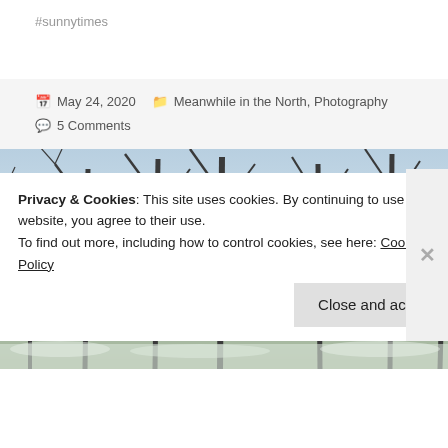#sunnytimes
May 24, 2020   Meanwhile in the North, Photography   5 Comments
[Figure (photo): Winter landscape photograph showing bare trees silhouetted against a pale blue sky with a bright sunrise/sunset glow on the horizon, snow visible at the base of the trees]
Privacy & Cookies: This site uses cookies. By continuing to use this website, you agree to their use.
To find out more, including how to control cookies, see here: Cookie Policy
Close and accept